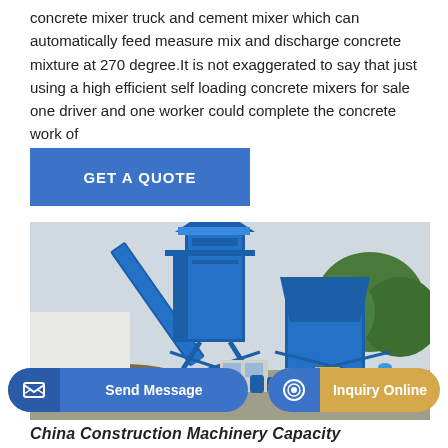concrete mixer truck and cement mixer which can automatically feed measure mix and discharge concrete mixture at 270 degree.It is not exaggerated to say that just using a high efficient self loading concrete mixers for sale one driver and one worker could complete the concrete work of
[Figure (other): Blue GET A QUOTE call-to-action button]
[Figure (photo): Large blue concrete batching plant / cement mixing machinery on a construction site, with a worker in blue uniform standing in front, trees in background]
[Figure (other): Send Message button (blue, rounded) with message icon on left, and Inquiry Online button (gold/tan, rounded) with phone icon on left — bottom navigation UI overlay]
China Construction Machinery Capacity